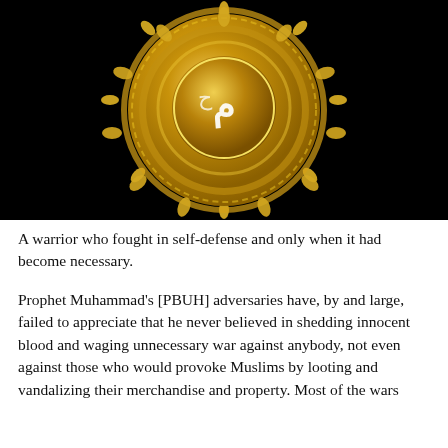[Figure (illustration): A golden ornate Islamic calligraphic medallion showing Arabic script (likely 'Muhammad') in the center, surrounded by intricate floral arabesques and decorative circular border with protruding ornamental elements, set against a black background.]
A warrior who fought in self-defense and only when it had become necessary.
Prophet Muhammad's [PBUH] adversaries have, by and large, failed to appreciate that he never believed in shedding innocent blood and waging unnecessary war against anybody, not even against those who would provoke Muslims by looting and vandalizing their merchandise and property. Most of the wars